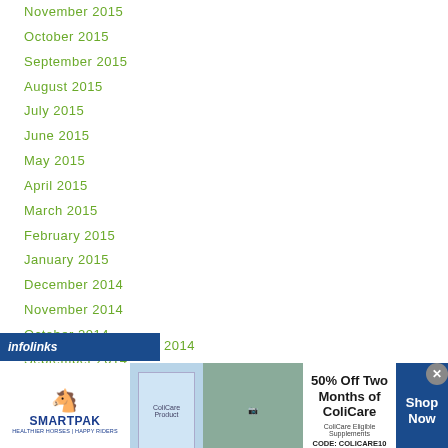November 2015
October 2015
September 2015
August 2015
July 2015
June 2015
May 2015
April 2015
March 2015
February 2015
January 2015
December 2014
November 2014
October 2014
September 2014
August 2014
[Figure (infographic): SmartPak advertisement banner offering 50% Off Two Months of ColiCare with code COLICARE10, featuring a horse and rider photo and product image with Shop Now CTA button]